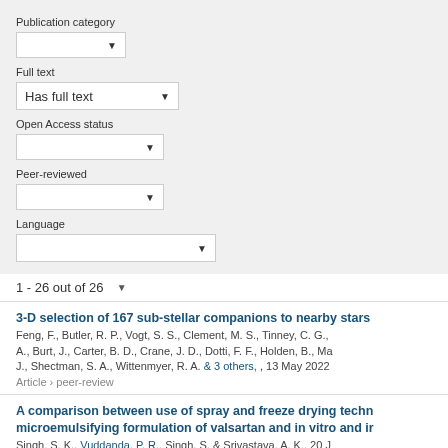Publication category
Full text
Has full text
Open Access status
Peer-reviewed
Language
1 - 26 out of 26
3-D selection of 167 sub-stellar companions to nearby stars
Feng, F., Butler, R. P., Vogt, S. S., Clement, M. S., Tinney, C. G., A., Burt, J., Carter, B. D., Crane, J. D., Dotti, F. F., Holden, B., Ma J., Shectman, S. A., Wittenmyer, R. A. & 3 others, , 13 May 2022
Article › peer-review
A comparison between use of spray and freeze drying techn microemulsifying formulation of valsartan and in vitro and ir
Singh, S. K., Vuddanda, P. R., Singh, S. & Srivastava, A. K., 20 J Research International. 2013, 13 p., 909045.
Article › peer-review
An exploration of eating behaviours and caregiver mealtime
Smith, B. & Ludlow, A., 17 Aug 2022, (Accepted/In press) In: Fro
Article › peer-review